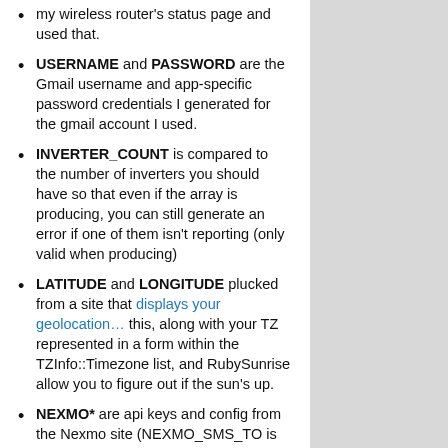my wireless router's status page and used that.
USERNAME and PASSWORD are the Gmail username and app-specific password credentials I generated for the gmail account I used.
INVERTER_COUNT is compared to the number of inverters you should have so that even if the array is producing, you can still generate an error if one of them isn't reporting (only valid when producing)
LATITUDE and LONGITUDE plucked from a site that displays your geolocation… this, along with your TZ represented in a form within the TZInfo::Timezone list, and RubySunrise allow you to figure out if the sun's up.
NEXMO* are api keys and config from the Nexmo site (NEXMO_SMS_TO is your personal mobile to alert to)
TO_EMAIL is the email to actually mail to
.config must be of the form that follows but the rest of the code can be cloned from envoy-rpi-zero-...